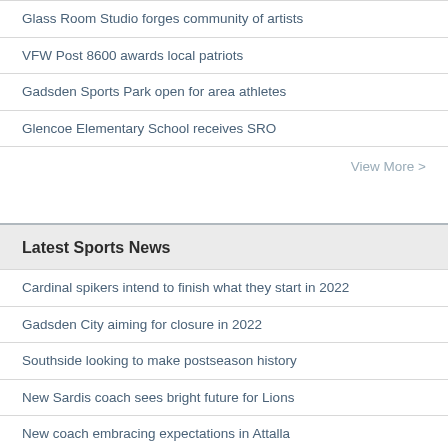Glass Room Studio forges community of artists
VFW Post 8600 awards local patriots
Gadsden Sports Park open for area athletes
Glencoe Elementary School receives SRO
View More >
Latest Sports News
Cardinal spikers intend to finish what they start in 2022
Gadsden City aiming for closure in 2022
Southside looking to make postseason history
New Sardis coach sees bright future for Lions
New coach embracing expectations in Attalla
View More >